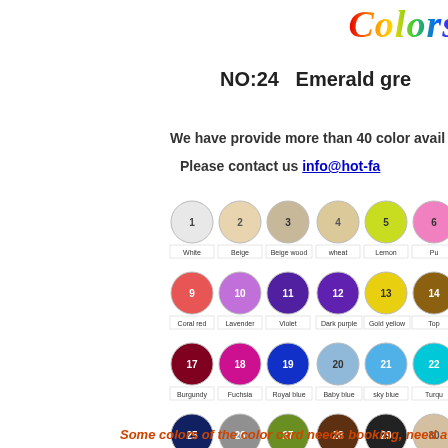Colors
NO:24   Emerald gre
We have provide more than 40 color avail
Please contact us info@hot-fa
[Figure (other): Color swatch chart showing yarn/thread colors numbered 1-2 (row1: White, Beige, Beige wood, wheat, Lemon, Pu...), row2: 9-14 (Coral red, Lavender, Violet, Dark purple, Gold yellow, Top...), row3: 17-22 (Burgundy, Fuchsia, Royal blue, Baby blue, sky blue, Turqu...), row4: 25-30 (Navy, Gray, Olivedrab, Coffee, Black, Beige o...), row5: 33-38 (Light Gray, Mint green, Deep Sky blue, Lime green, Apricot, Spaci...)]
Some colors of the color card needs booking, need a